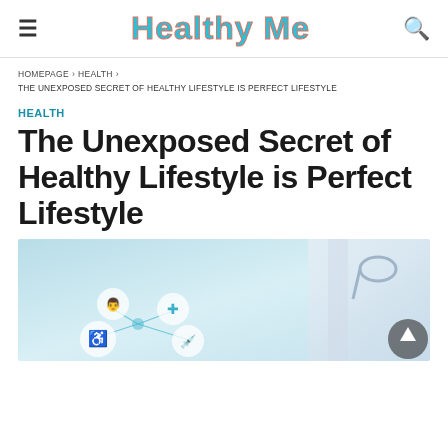Healthy Me
HOMEPAGE › HEALTH › THE UNEXPOSED SECRET OF HEALTHY LIFESTYLE IS PERFECT LIFESTYLE
HEALTH
The Unexposed Secret of Healthy Lifestyle is Perfect Lifestyle
[Figure (photo): A doctor in white coat with medical health icons on a light blue background, showing icons for wheelchair accessibility, medical cross, syringe, and other health symbols connected in a network pattern.]